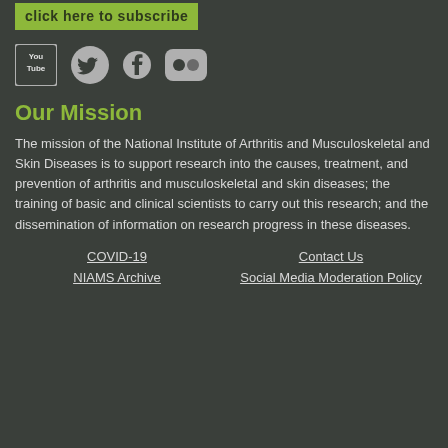click here to subscribe
[Figure (logo): Social media icons: YouTube, Twitter, Facebook, Flickr]
Our Mission
The mission of the National Institute of Arthritis and Musculoskeletal and Skin Diseases is to support research into the causes, treatment, and prevention of arthritis and musculoskeletal and skin diseases; the training of basic and clinical scientists to carry out this research; and the dissemination of information on research progress in these diseases.
COVID-19
Contact Us
NIAMS Archive
Social Media Moderation Policy